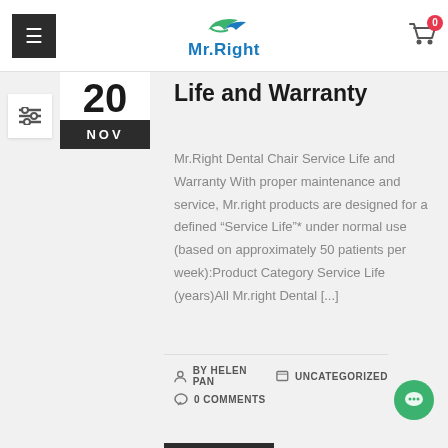Mr.Right
Life and Warranty
Mr.Right Dental Chair Service Life and Warranty With proper maintenance and service, Mr.right products are designed for a defined “Service Life”* under normal use (based on approximately 50 patients per week):Product Category Service Life (years)All Mr.right Dental [...]
BY HELEN PAN   UNCATEGORIZED   0 COMMENTS